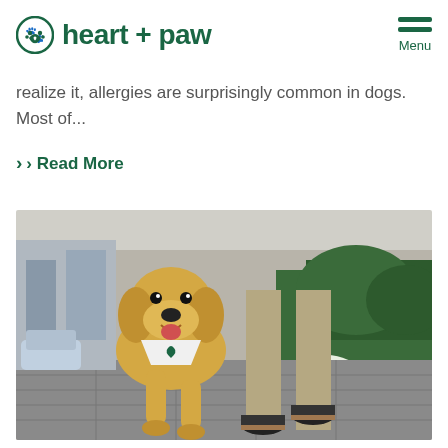heart + paw | Menu
realize it, allergies are surprisingly common in dogs. Most of...
› Read More
[Figure (photo): A golden retriever dog wearing a white bandana walking happily alongside a person on a city sidewalk. The dog is smiling and walking briskly. The person is wearing khaki pants and dark shoes. There are green bushes in the background.]